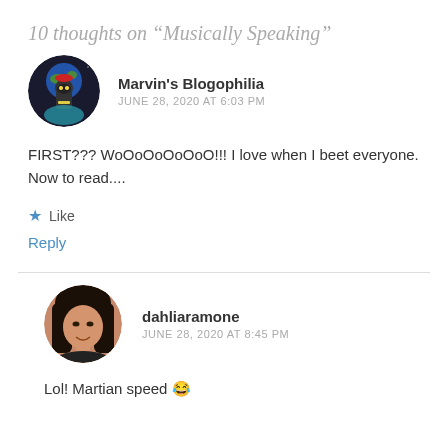10 thoughts on “Musically Speaking”
[Figure (illustration): Circular avatar image of Marvin the Martian cartoon character on dark space background]
Marvin's Blogophilia
JUNE 28, 2020 AT 6:03 PM
FIRST??? WoOoOoOoOoO!!! I love when I beet everyone. Now to read....
★ Like
Reply
[Figure (photo): Circular avatar photo of a woman with dark hair, smiling]
dahliaramone
JUNE 28, 2020 AT 8:45 PM
Lol! Martian speed 😂